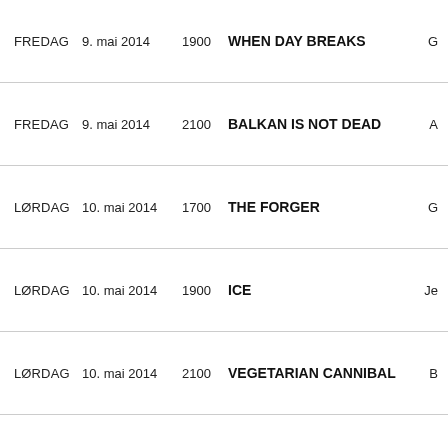| Day | Date | Time | Title | Extra |
| --- | --- | --- | --- | --- |
| FREDAG | 9. mai 2014 | 1900 | WHEN DAY BREAKS | G |
| FREDAG | 9. mai 2014 | 2100 | BALKAN IS NOT DEAD | A |
| LØRDAG | 10. mai 2014 | 1700 | THE FORGER | G |
| LØRDAG | 10. mai 2014 | 1900 | ICE | Je |
| LØRDAG | 10. mai 2014 | 2100 | VEGETARIAN CANNIBAL | B |
|  |  |  |  |  |
| SØNDAG | 11. mai 2014 | 1600 | L  LOVE ISN'T ALWAYS ON |  |
Møt produsent Zoran J